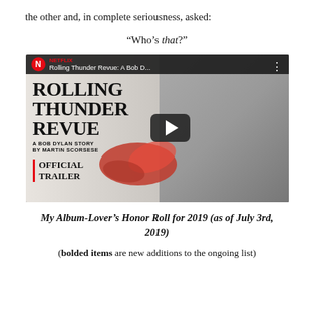the other and, in complete seriousness, asked:
“Who’s that?”
[Figure (screenshot): Netflix YouTube thumbnail for Rolling Thunder Revue: A Bob Dylan Story by Martin Scorsese - Official Trailer, with play button overlay]
My Album-Lover’s Honor Roll for 2019 (as of July 3rd, 2019)
(bolded items are new additions to the ongoing list)